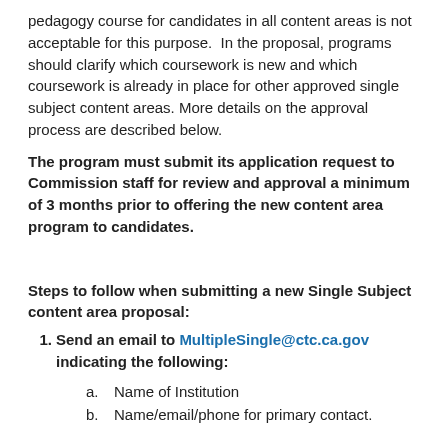pedagogy course for candidates in all content areas is not acceptable for this purpose. In the proposal, programs should clarify which coursework is new and which coursework is already in place for other approved single subject content areas. More details on the approval process are described below.
The program must submit its application request to Commission staff for review and approval a minimum of 3 months prior to offering the new content area program to candidates.
Steps to follow when submitting a new Single Subject content area proposal:
Send an email to MultipleSingle@ctc.ca.gov indicating the following:
a. Name of Institution
b. Name/email/phone for primary contact.